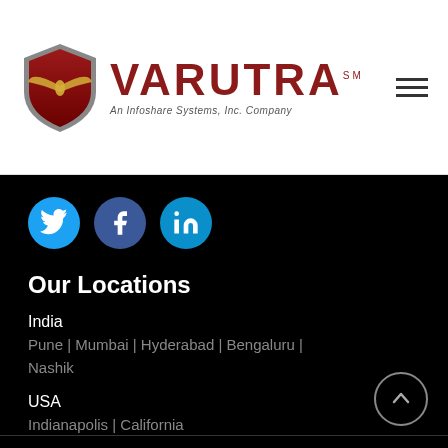[Figure (logo): Varutra logo: red shield with wing emblem, VARUTRA text in dark red, tagline 'An Infoshare Systems, Inc. Company']
[Figure (infographic): Social media icons: Twitter (light blue circle), Facebook (dark blue circle), LinkedIn (blue circle)]
Our Locations
India
Pune | Mumbai | Hyderabad | Bengaluru | Nashik
USA
Indianapolis | California